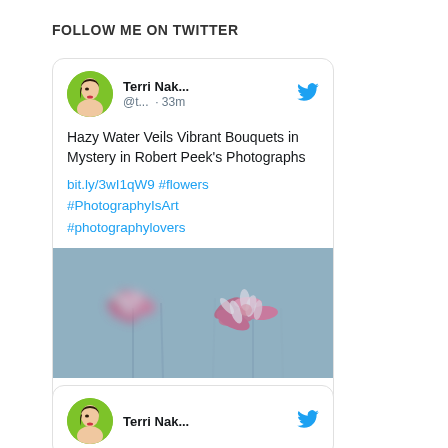FOLLOW ME ON TWITTER
[Figure (screenshot): Twitter/social media widget showing a tweet by Terri Nak... (@t...) posted 33m ago. Tweet text: 'Hazy Water Veils Vibrant Bouquets in Mystery in Robert Peek's Photographs bit.ly/3wI1qW9 #flowers #PhotographyIsArt #photographylovers'. Includes a photo of pink flowers with hazy/blurred effect. Shows 2 likes. Below is the start of another tweet card by Terri Nak...]